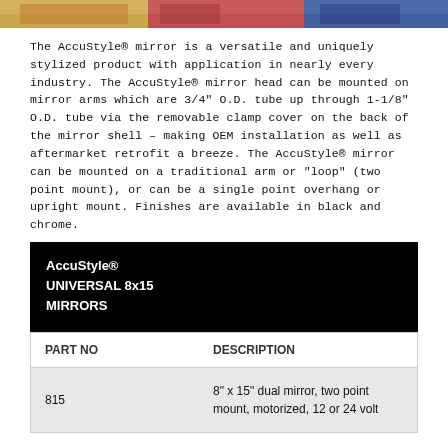[Figure (photo): Colorful image strip at the top of the page showing partial product photos in orange/yellow, pink/red, and blue tones]
The AccuStyle® mirror is a versatile and uniquely stylized product with application in nearly every industry. The AccuStyle® mirror head can be mounted on mirror arms which are 3/4" O.D. tube up through 1-1/8" O.D. tube via the removable clamp cover on the back of the mirror shell – making OEM installation as well as aftermarket retrofit a breeze. The AccuStyle® mirror can be mounted on a traditional arm or "loop" (two point mount), or can be a single point overhang or upright mount. Finishes are available in black and chrome.
AccuStyle®
UNIVERSAL 8x15
MIRRORS
| PART NO | DESCRIPTION |
| --- | --- |
| 815 | 8" x 15" dual mirror, two point mount, motorized, 12 or 24 volt |